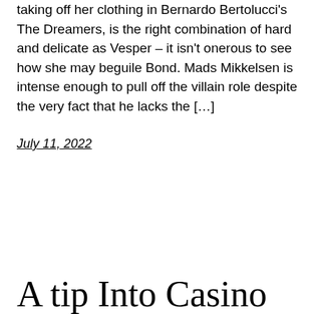taking off her clothing in Bernardo Bertolucci's The Dreamers, is the right combination of hard and delicate as Vesper – it isn't onerous to see how she may beguile Bond. Mads Mikkelsen is intense enough to pull off the villain role despite the very fact that he lacks the […]
July 11, 2022
A tip Into Casino